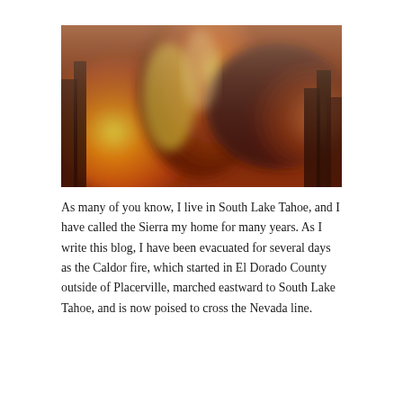[Figure (photo): A blurred photograph of a wildfire with orange, red, and yellow flames and dark brown smoky silhouettes of trees.]
As many of you know, I live in South Lake Tahoe, and I have called the Sierra my home for many years. As I write this blog, I have been evacuated for several days as the Caldor fire, which started in El Dorado County outside of Placerville, marched eastward to South Lake Tahoe, and is now poised to cross the Nevada line.